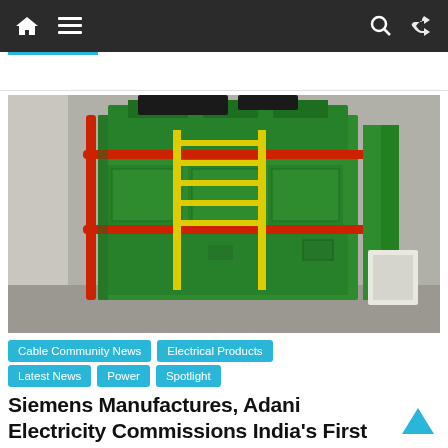Navigation bar with home, menu, search, and shuffle icons
[Figure (photo): Large green industrial transformer with red and yellow scaffolding/pipes, photographed in an industrial facility. The machine is a large box-shaped electrical transformer painted green with visible conduits and structural supports.]
Cable Community News
Electrical Products
Latest News
Power
Spotlight
Siemens Manufactures, Adani Electricity Commissions India's First Ester Oil Transformer